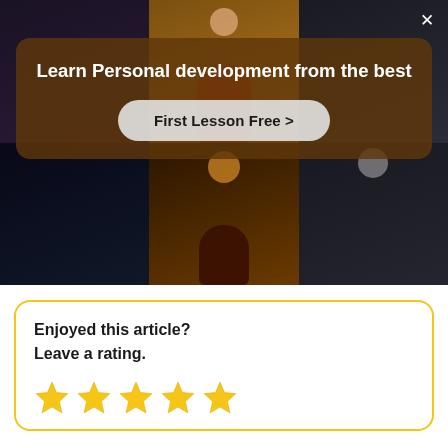[Figure (photo): Hero image showing multiple people in a collage background — musicians and performers — with a brown semi-transparent overlay panel containing a headline and CTA button. A close (X) button is at the top right.]
Learn Personal development from the best
First Lesson Free >
Enjoyed this article?
Leave a rating.
[Figure (infographic): Five gold star rating icons in a row]